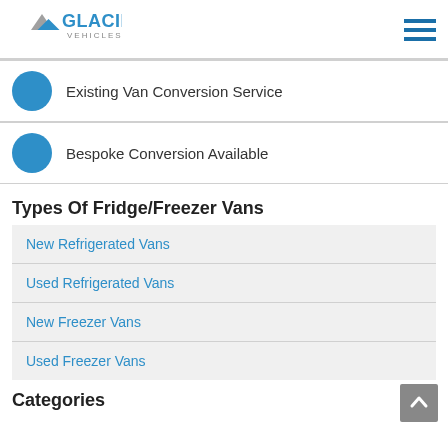Glacier Vehicles
Existing Van Conversion Service
Bespoke Conversion Available
Types Of Fridge/Freezer Vans
New Refrigerated Vans
Used Refrigerated Vans
New Freezer Vans
Used Freezer Vans
Categories